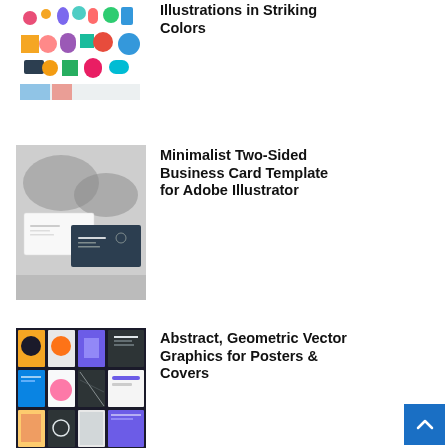[Figure (illustration): Colorful flat illustrations with humans, geometric shapes and icons on white background]
Illustrations in Striking Colors
[Figure (photo): Minimalist two-sided business card mockup in white and dark navy on grey background]
Minimalist Two-Sided Business Card Template for Adobe Illustrator
[Figure (illustration): Grid of abstract geometric vector graphic posters and covers with various colorful designs]
Abstract, Geometric Vector Graphics for Posters & Covers
[Figure (illustration): Grid of vector brochure and catalog template layouts in blue, black, and white]
Vector Graphics — Brochure & Catalog Templates